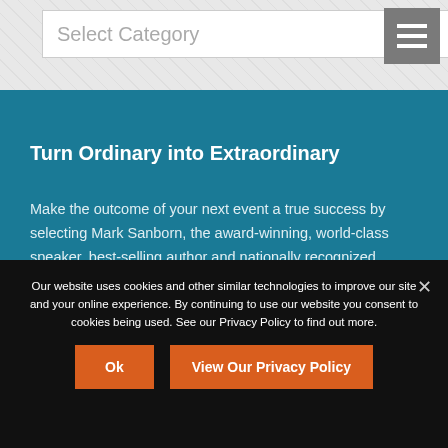Select Category
Turn Ordinary into Extraordinary
Make the outcome of your next event a true success by selecting Mark Sanborn, the award-winning, world-class speaker, best-selling author and nationally recognized leadership expert.
Our website uses cookies and other similar technologies to improve our site and your online experience. By continuing to use our website you consent to cookies being used. See our Privacy Policy to find out more.
Ok
View Our Privacy Policy